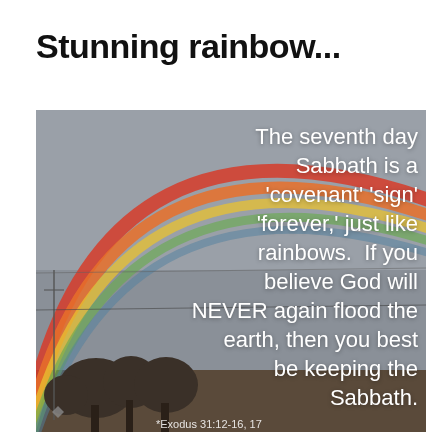Stunning rainbow...
[Figure (photo): A stunning rainbow photographed over a treeline with a grey overcast sky. The rainbow arcs from lower left towards upper right, showing vivid red, orange, yellow, and green bands. Trees and utility poles are visible at the bottom. Text overlaid on the right side reads: 'The seventh day Sabbath is a covenant sign forever, just like rainbows. If you believe God will NEVER again flood the earth, then you best be keeping the Sabbath.' A partial citation 'Exodus 31:12-16, 17' is visible at the bottom.]